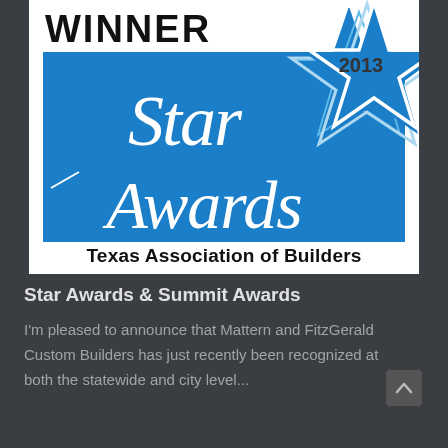[Figure (logo): 2013 Star Awards Winner logo for Texas Association of Builders. Blue rectangle with white cursive 'Star Awards' text and a star graphic in the upper right corner. 'WINNER' in bold black text above the blue box, '2013' inside the star, and 'Texas Association of Builders' in bold black text below the blue box.]
Star Awards & Summit Awards
I'm pleased to announce that Mattern and FitzGerald Custom Builders has just recently been recognized at both the statewide and city level...